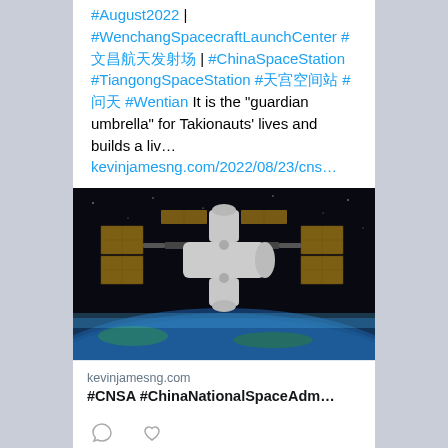#August2022 | #WenchangSpacecraftLaunchCenter #文昌航天发射场 | #ChinaSpaceStation #TiangongSpaceStation #天宫空间站 #问天 #Wentian It is the "guardian umbrella" for Takionauts' lives and builds a liv… kevinjamesng.com/2022/08/23/cns…
[Figure (photo): Photo of the China Space Station / Tiangong space station in orbit above Earth, showing the T-shaped modular structure with solar panels against a dark space background with Earth's blue atmosphere visible below.]
kevinjamesng.com #CNSA #ChinaNationalSpaceAdm…